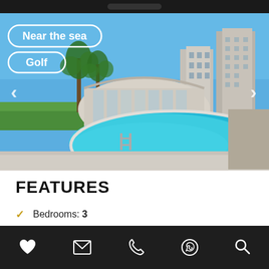[Figure (photo): Luxury residential complex with a large turquoise swimming pool in the foreground, a curved glass gym or clubhouse building with palm trees, and modern apartment blocks under a clear blue sky. Tags 'Near the sea' and 'Golf' overlaid on the image with white borders. Left and right navigation arrows on sides.]
FEATURES
Bedrooms: 3
heart | mail | phone | whatsapp | search